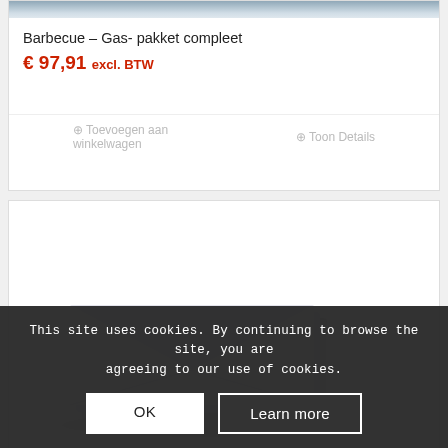[Figure (photo): Top portion of a product card showing a barbecue/grill image (cropped at top)]
Barbecue – Gas- pakket compleet
€ 97,91 excl. BTW
⊕ Toevoegen aan winkelwagen
⊕ Toon Details
[Figure (photo): Product card showing envelopes/stationery items on a white background]
This site uses cookies. By continuing to browse the site, you are agreeing to our use of cookies.
OK
Learn more